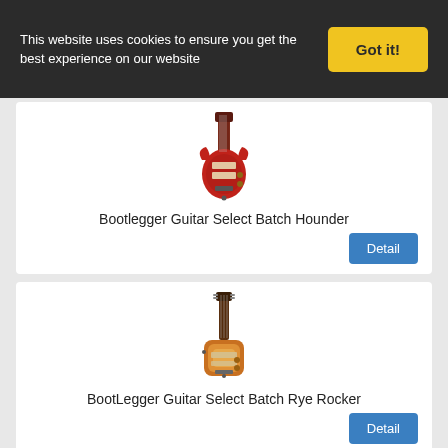This website uses cookies to ensure you get the best experience on our website
Got it!
[Figure (illustration): Red electric guitar (Bootlegger Guitar Select Batch Hounder)]
Bootlegger Guitar Select Batch Hounder
Detail
[Figure (illustration): Sunburst electric guitar (BootLegger Guitar Select Batch Rye Rocker)]
BootLegger Guitar Select Batch Rye Rocker
Detail